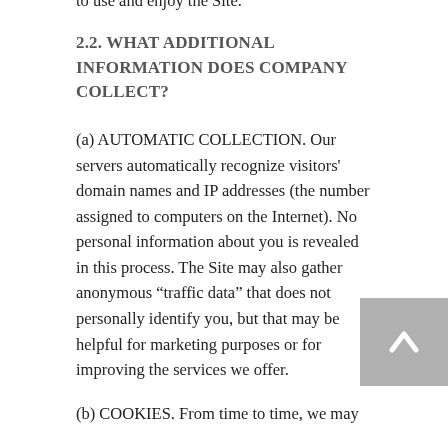us with information via these two methods to use and enjoy the Site.
2.2. WHAT ADDITIONAL INFORMATION DOES COMPANY COLLECT?
(a) AUTOMATIC COLLECTION. Our servers automatically recognize visitors’ domain names and IP addresses (the number assigned to computers on the Internet). No personal information about you is revealed in this process. The Site may also gather anonymous “traffic data” that does not personally identify you, but that may be helpful for marketing purposes or for improving the services we offer.
(b) COOKIES. From time to time, we may